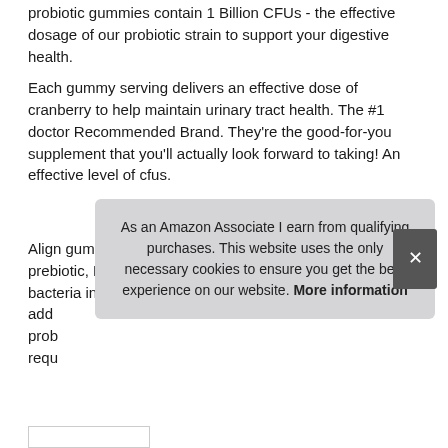probiotic gummies contain 1 Billion CFUs - the effective dosage of our probiotic strain to support your digestive health.
Each gummy serving delivers an effective dose of cranberry to help maintain urinary tract health. The #1 doctor Recommended Brand. They're the good-for-you supplement that you'll actually look forward to taking! An effective level of cfus.
More information #ad
Align gummies support your gut in 2 ways: they contain a prebiotic, Bacillus Coagulans, Inulin, to help nourish good bacteria in your digestive system and the probiotic, which add[...] prob[...] requ[...]
As an Amazon Associate I earn from qualifying purchases. This website uses the only necessary cookies to ensure you get the best experience on our website. More information